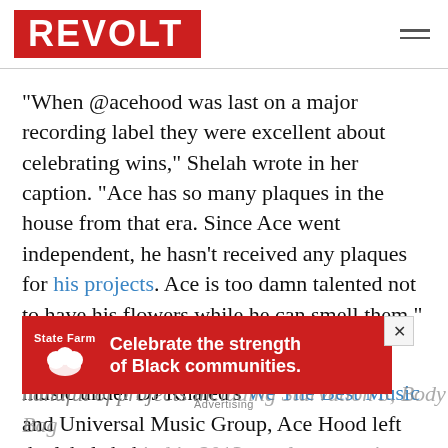REVOLT
“When @acehood was last on a major recording label they were excellent about celebrating wins,” Shelah wrote in her caption. “Ace has so many plaques in the house from that era. Since Ace went independent, he hasn’t received any plaques for his projects. Ace is too damn talented not to have his flowers while he can smell them.”
After spending nearly a decade releasing music under DJ Khaled’s We The Best Music and Universal Music Group, Ace Hood left the labels behind in 2013 to release music independently. Since then he has put out a handful of projects including Starvation 5, Body Bag
[Figure (other): State Farm advertisement banner: red background with State Farm logo (white text and three circles icon) on left and white text reading 'Celebrate the strength of Black communities.' on right, with an X close button.]